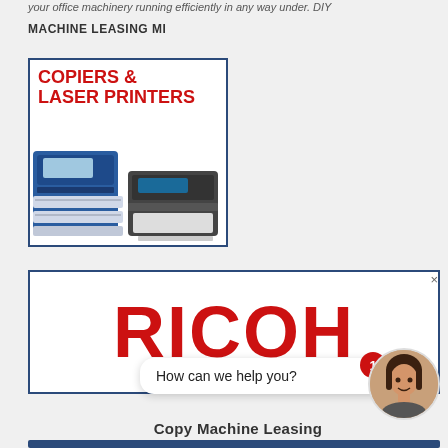your office machinery running efficiently in any way under. DIY
MACHINE LEASING MI
[Figure (illustration): Advertisement box with blue border showing 'COPIERS & LASER PRINTERS' text in red and images of two office copier/printer machines]
[Figure (logo): RICOH logo in large red bold letters inside a blue-bordered rectangle advertisement]
How can we help you?
Copy Machine Leasing